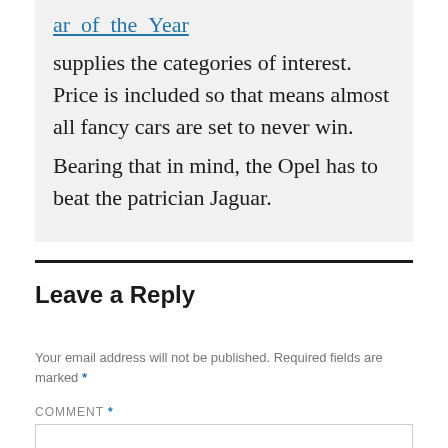ar_of_the_Year supplies the categories of interest. Price is included so that means almost all fancy cars are set to never win. Bearing that in mind, the Opel has to beat the patrician Jaguar.
Leave a Reply
Your email address will not be published. Required fields are marked *
COMMENT *